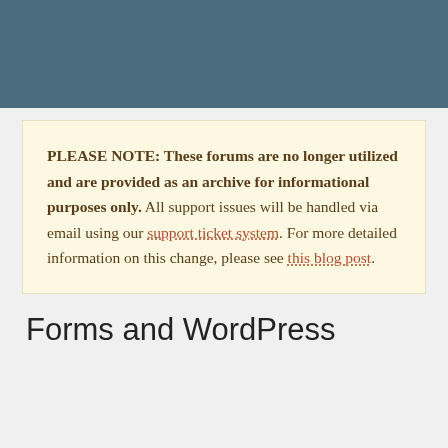PLEASE NOTE: These forums are no longer utilized and are provided as an archive for informational purposes only. All support issues will be handled via email using our support ticket system. For more detailed information on this change, please see this blog post.
Forms and WordPress